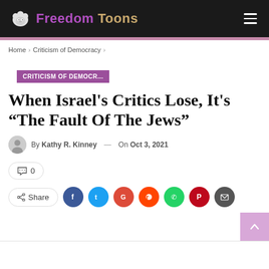Freedom Toons
Home > Criticism of Democracy >
CRITICISM OF DEMOCR...
When Israel's Critics Lose, It's “The Fault Of The Jews”
By Kathy R. Kinney — On Oct 3, 2021
0
Share